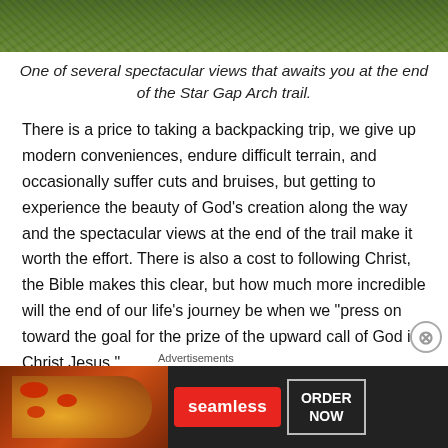[Figure (photo): Top portion of a nature/landscape photo showing green foliage and trees, partially visible at the top of the page]
One of several spectacular views that awaits you at the end of the Star Gap Arch trail.
There is a price to taking a backpacking trip, we give up modern conveniences, endure difficult terrain, and occasionally suffer cuts and bruises, but getting to experience the beauty of God’s creation along the way and the spectacular views at the end of the trail make it worth the effort. There is also a cost to following Christ, the Bible makes this clear, but how much more incredible will the end of our life’s journey be when we “press on toward the goal for the prize of the upward call of God in Christ Jesus."
Advertisements
[Figure (screenshot): Seamless food delivery advertisement banner with pizza image on left, Seamless logo in red, and ORDER NOW button on right]